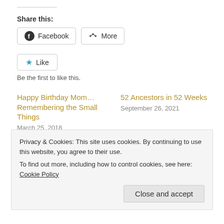Share this:
Facebook
More
Like
Be the first to like this.
Happy Birthday Mom… Remembering the Small Things
March 25, 2018
52 Ancestors in 52 Weeks
September 26, 2021
Harrison Wright Schwegler
November 28, 2015
Privacy & Cookies: This site uses cookies. By continuing to use this website, you agree to their use.
To find out more, including how to control cookies, see here: Cookie Policy
Close and accept